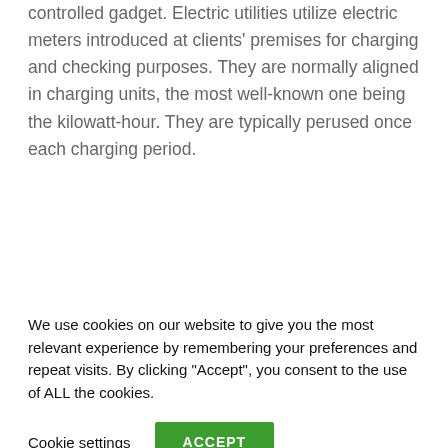controlled gadget. Electric utilities utilize electric meters introduced at clients' premises for charging and checking purposes. They are normally aligned in charging units, the most well-known one being the kilowatt-hour. They are typically perused once each charging period.
[Figure (screenshot): Video thumbnail with black background showing a circular avatar of a bald man in a dark shirt, text 'Collisions, Activation En...' in white, and a vertical three-dot menu icon on the right.]
We use cookies on our website to give you the most relevant experience by remembering your preferences and repeat visits. By clicking "Accept", you consent to the use of ALL the cookies.
Cookie settings   ACCEPT